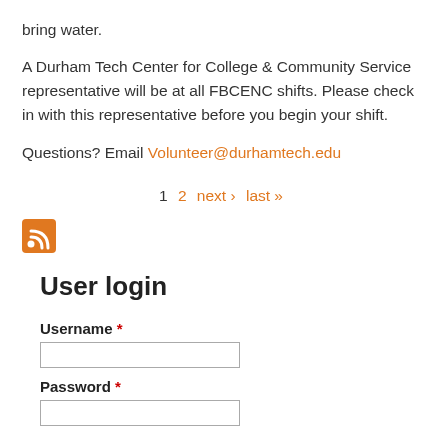bring water.
A Durham Tech Center for College & Community Service representative will be at all FBCENC shifts. Please check in with this representative before you begin your shift.
Questions? Email Volunteer@durhamtech.edu
1  2  next ›  last »
[Figure (other): RSS feed icon - orange square with white RSS symbol]
User login
Username *
Password *